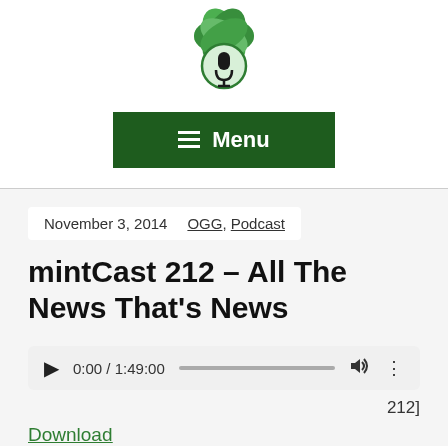[Figure (logo): mintCast podcast logo: green mint leaves with a microphone icon in a circle]
Menu
November 3, 2014   OGG, Podcast
mintCast 212 – All The News That's News
[Figure (screenshot): Audio player showing 0:00 / 1:49:00 with progress bar, volume and more icons]
212]
Download